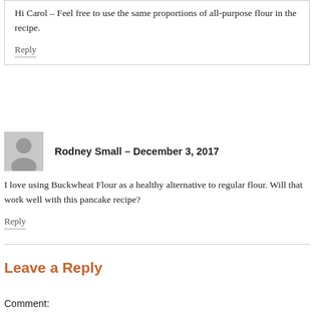Hi Carol – Feel free to use the same proportions of all-purpose flour in the recipe.
Reply
Rodney Small – December 3, 2017
I love using Buckwheat Flour as a healthy alternative to regular flour. Will that work well with this pancake recipe?
Reply
Leave a Reply
Comment: